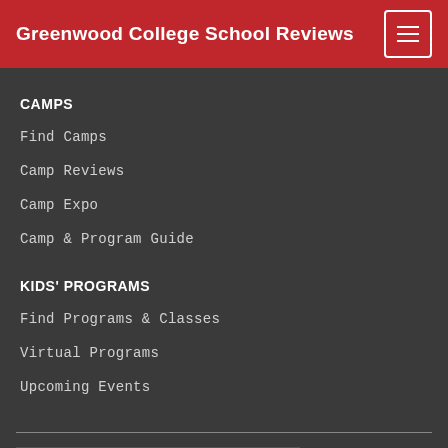Greenwood College School Reviews
CAMPS
Find Camps
Camp Reviews
Camp Expo
Camp & Program Guide
KIDS' PROGRAMS
Find Programs & Classes
Virtual Programs
Upcoming Events
Get the Our Kids eNewsletter